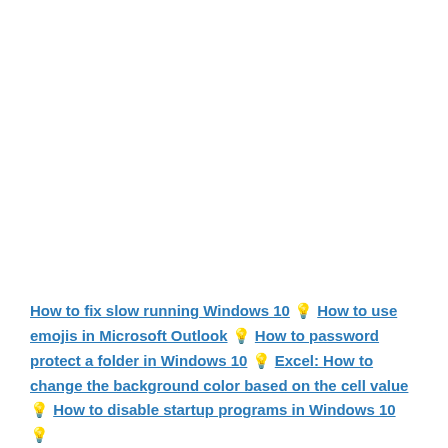How to fix slow running Windows 10 💡 How to use emojis in Microsoft Outlook 💡 How to password protect a folder in Windows 10 💡 Excel: How to change the background color based on the cell value 💡 How to disable startup programs in Windows 10 💡